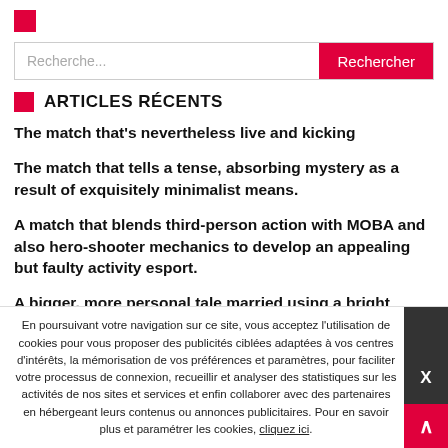Recherche...
ARTICLES RÉCENTS
The match that's nevertheless live and kicking
The match that tells a tense, absorbing mystery as a result of exquisitely minimalist means.
A match that blends third-person action with MOBA and also hero-shooter mechanics to develop an appealing but faulty activity esport.
A bigger, more personal tale married using a bright mash up of action and RPG gameplay to provide a must-play experience.
En poursuivant votre navigation sur ce site, vous acceptez l'utilisation de cookies pour vous proposer des publicités ciblées adaptées à vos centres d'intérêts, la mémorisation de vos préférences et paramètres, pour faciliter votre processus de connexion, recueillir et analyser des statistiques sur les activités de nos sites et services et enfin collaborer avec des partenaires en hébergeant leurs contenus ou annonces publicitaires. Pour en savoir plus et paramétrer les cookies, cliquez ici.